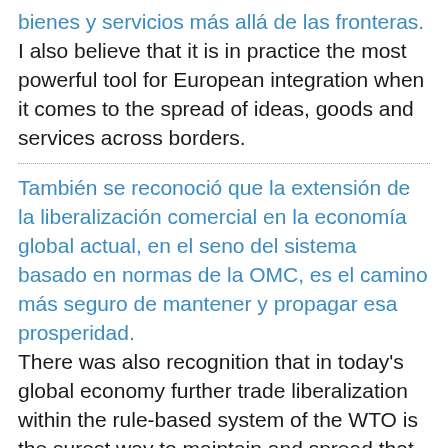bienes y servicios más allá de las fronteras.
I also believe that it is in practice the most powerful tool for European integration when it comes to the spread of ideas, goods and services across borders.
También se reconoció que la extensión de la liberalización comercial en la economía global actual, en el seno del sistema basado en normas de la OMC, es el camino más seguro de mantener y propagar esa prosperidad.
There was also recognition that in today's global economy further trade liberalization within the rule-based system of the WTO is the surest way to maintain and spread that prosperity.